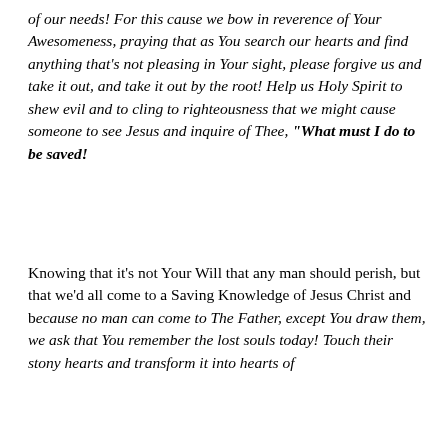of our needs! For this cause we bow in reverence of Your Awesomeness, praying that as You search our hearts and find anything that's not pleasing in Your sight, please forgive us and take it out, and take it out by the root! Help us Holy Spirit to shew evil and to cling to righteousness that we might cause someone to see Jesus and inquire of Thee, "What must I do to be saved!
Knowing that it's not Your Will that any man should perish, but that we'd all come to a Saving Knowledge of Jesus Christ and because no man can come to The Father, except You draw them, we ask that You remember the lost souls today! Touch their stony hearts and transform it into hearts of